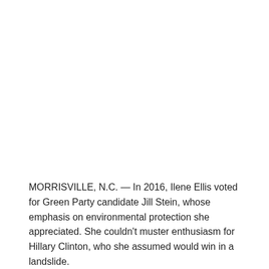MORRISVILLE, N.C. — In 2016, Ilene Ellis voted for Green Party candidate Jill Stein, whose emphasis on environmental protection she appreciated. She couldn't muster enthusiasm for Hillary Clinton, who she assumed would win in a landslide.
“I listened to the polls. It seemed to me that it would be an overwhelming win. It wasn't even a contest,” said Ellis, 33, a